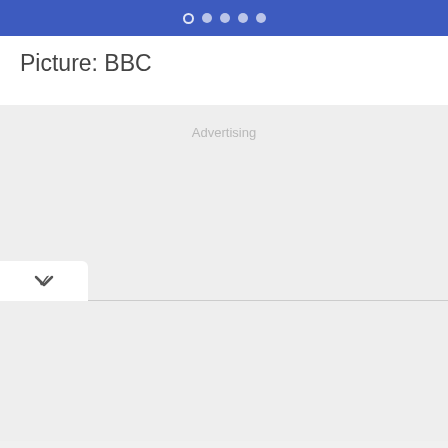[Figure (screenshot): Blue navigation bar with five dots (pagination indicators), first dot is an open circle (active), rest are filled circles]
Picture: BBC
Advertising
[Figure (other): Collapsed/expandable UI section with a chevron down arrow and a horizontal divider line]